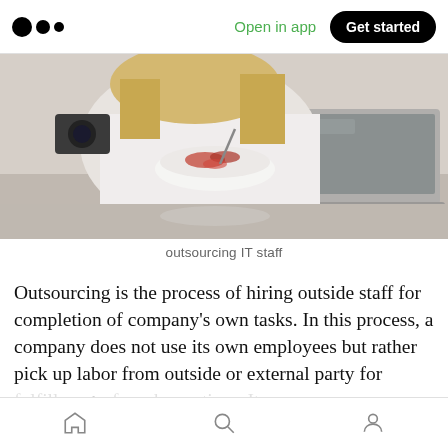Medium app header with logo, 'Open in app', and 'Get started' button
[Figure (photo): Woman sitting at a table eating from a bowl while working on a laptop computer]
outsourcing IT staff
Outsourcing is the process of hiring outside staff for completion of company’s own tasks. In this process, a company does not use its own employees but rather pick up labor from outside or external party for fulfillment of work practices. It can 👏 269  💬 1  people under your capacity are lacking the technical or other
Bottom navigation bar with home, search, and profile icons